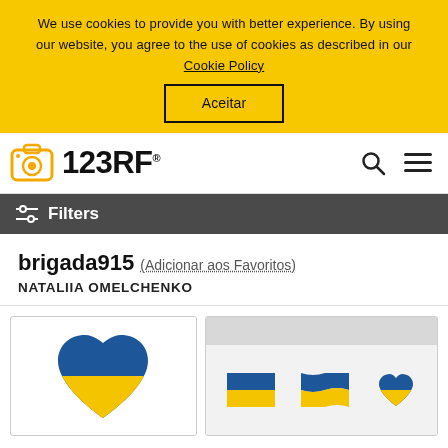We use cookies to provide you with better experience. By using our website, you agree to the use of cookies as described in our Cookie Policy
Aceitar
[Figure (logo): 123RF logo with camera icon]
Filters
brigada915 (Adicionar aos Favoritos)
NATALIIA OMELCHENKO
[Figure (illustration): Ukrainian flag heart shape icon]
[Figure (illustration): Set of Ukrainian flag icons: rectangular, wavy, and heart-shaped]